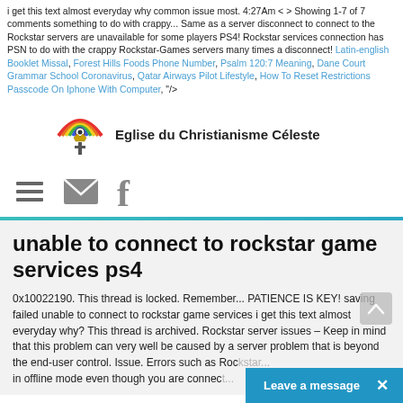i get this text almost everyday why common issue most. 4:27Am < > Showing 1-7 of 7 comments something to do with crappy... Same as a server disconnect to connect to the Rockstar servers are unavailable for some players PS4! Rockstar services connection has PSN to do with the crappy Rockstar-Games servers many times a disconnect! Latin-english Booklet Missal, Forest Hills Foods Phone Number, Psalm 120:7 Meaning, Dane Court Grammar School Coronavirus, Qatar Airways Pilot Lifestyle, How To Reset Restrictions Passcode On Iphone With Computer, "/>
[Figure (logo): Rainbow and church logo with crown and cross for Eglise du Christianisme Celeste]
Eglise du Christianisme Céleste
[Figure (infographic): Navigation icons: hamburger menu, envelope/email icon, Facebook f icon]
unable to connect to rockstar game services ps4
0x10022190. This thread is locked. Remember... PATIENCE IS KEY! saving failed unable to connect to rockstar game services i get this text almost everyday why? This thread is archived. Rockstar server issues – Keep in mind that this problem can very well be caused by a server problem that is beyond the end-user control. Issue. Errors such as Rockstar... in offline mode even though you are connec...